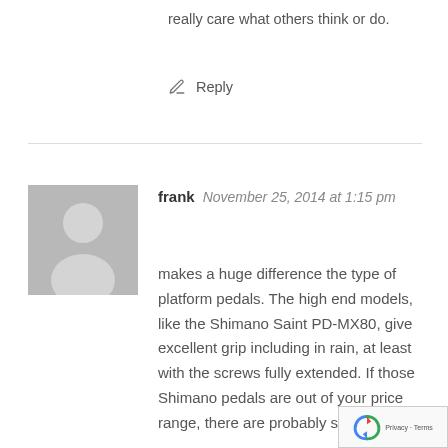really care what others think or do.
Reply
frank  November 25, 2014 at 1:15 pm
makes a huge difference the type of platform pedals. The high end models, like the Shimano Saint PD-MX80, give excellent grip including in rain, at least with the screws fully extended. If those Shimano pedals are out of your price range, there are probably some